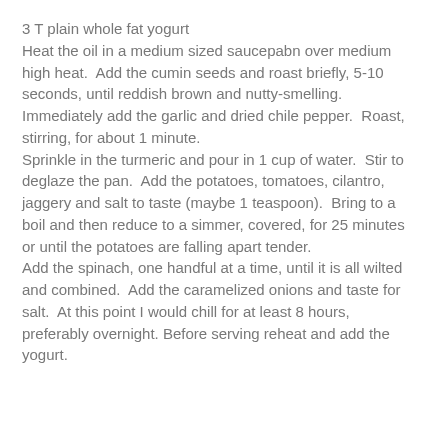3 T plain whole fat yogurt
Heat the oil in a medium sized saucepabn over medium high heat.  Add the cumin seeds and roast briefly, 5-10 seconds, until reddish brown and nutty-smelling.  Immediately add the garlic and dried chile pepper.  Roast, stirring, for about 1 minute.
Sprinkle in the turmeric and pour in 1 cup of water.  Stir to deglaze the pan.  Add the potatoes, tomatoes, cilantro, jaggery and salt to taste (maybe 1 teaspoon).  Bring to a boil and then reduce to a simmer, covered, for 25 minutes or until the potatoes are falling apart tender.
Add the spinach, one handful at a time, until it is all wilted and combined.  Add the caramelized onions and taste for salt.  At this point I would chill for at least 8 hours, preferably overnight. Before serving reheat and add the yogurt.